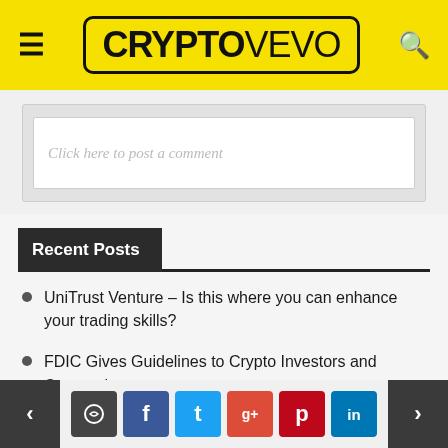CRYPTOVEVO
Click here to post a comment
Recent Posts
UniTrust Venture – Is this where you can enhance your trading skills?
FDIC Gives Guidelines to Crypto Investors and Companies
Finance Professional Explains Why Traditional Investors Shun Crypto
< comment f t g+ p in >